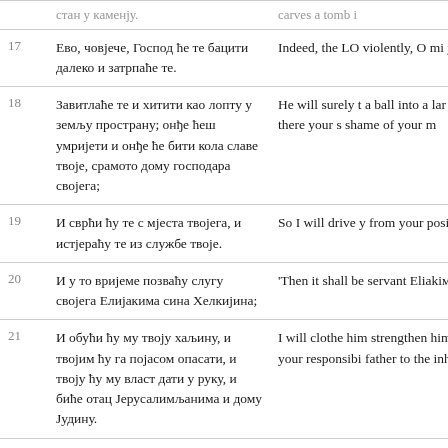| # | Serbian | English |
| --- | --- | --- |
|  | стан у каменју. | carves a tomb i |
| 17 | Ево, човјече, Господ ће те бацити далеко и затрпаће те. | Indeed, the LO violently, O mi you. |
| 18 | Завитлаће те и хитити као лопту у земљу пространу; онђе ћеш умријети и онђе ће бити кола славе твоје, срамото дому господара својега; | He will surely t a ball into a lar and there your s shame of your m |
| 19 | И сврћи ћу те с мјеста твојега, и истјераћу те из службе твоје. | So I will drive y from your posit |
| 20 | И у то вријеме позваћу слугу својега Елијакима сина Хелкијина; | 'Then it shall be servant Eliakiм |
| 21 | И обући ћу му твоју хаљину, и твојим ћу га појасом опасати, и твоју ћу му власт дати у руку, и биће отац Јерусалимљанима и дому Јудину. | I will clothe him strengthen him your responsibi father to the inh |